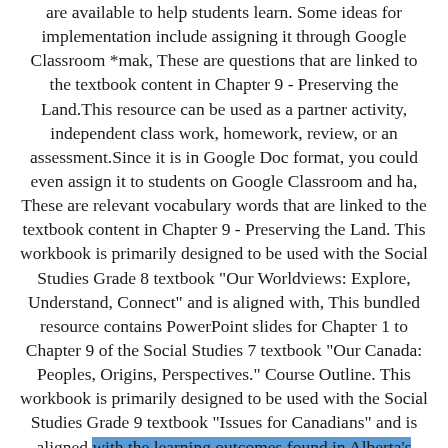are available to help students learn. Some ideas for implementation include assigning it through Google Classroom *mak, These are questions that are linked to the textbook content in Chapter 9 - Preserving the Land.This resource can be used as a partner activity, independent class work, homework, review, or an assessment.Since it is in Google Doc format, you could even assign it to students on Google Classroom and ha, These are relevant vocabulary words that are linked to the textbook content in Chapter 9 - Preserving the Land. This workbook is primarily designed to be used with the Social Studies Grade 8 textbook "Our Worldviews: Explore, Understand, Connect" and is aligned with, This bundled resource contains PowerPoint slides for Chapter 1 to Chapter 9 of the Social Studies 7 textbook "Our Canada: Peoples, Origins, Perspectives." Course Outline. This workbook is primarily designed to be used with the Social Studies Grade 9 textbook "Issues for Canadians" and is aligned with the learning outcomes found in Alberta's Program of Studies for Grade 9 Keywo. This task is linked to the